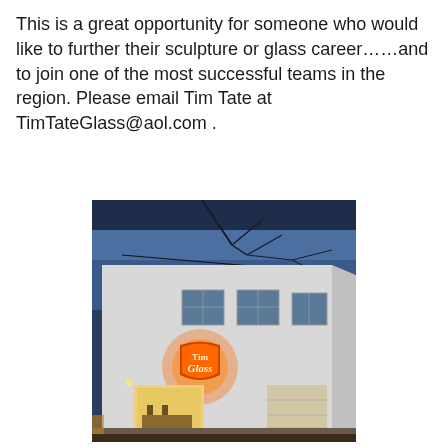This is a great opportunity for someone who would like to further their sculpture or glass career……and to join one of the most successful teams in the region. Please email Tim Tate at TimTateGlass@aol.com .
[Figure (photo): Exterior photo of a white two-story building at dusk with a glowing orange/red neon glass sign on the facade and lit interior visible through open garage doors, bare tree branches visible against blue sky.]